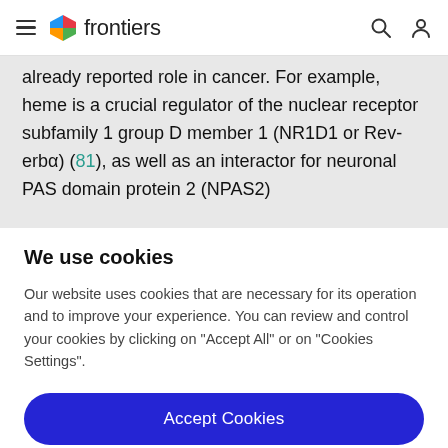frontiers
already reported role in cancer. For example, heme is a crucial regulator of the nuclear receptor subfamily 1 group D member 1 (NR1D1 or Rev-erbα) (81), as well as an interactor for neuronal PAS domain protein 2 (NPAS2)
We use cookies
Our website uses cookies that are necessary for its operation and to improve your experience. You can review and control your cookies by clicking on "Accept All" or on "Cookies Settings".
Accept Cookies
Cookies Settings